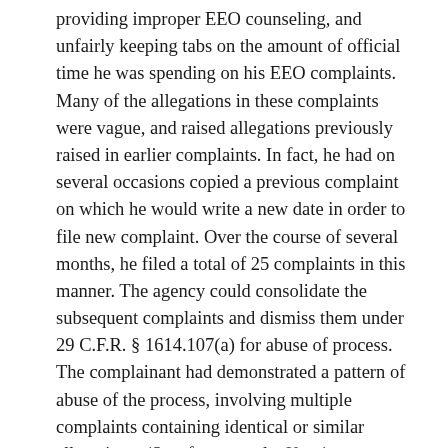providing improper EEO counseling, and unfairly keeping tabs on the amount of official time he was spending on his EEO complaints. Many of the allegations in these complaints were vague, and raised allegations previously raised in earlier complaints. In fact, he had on several occasions copied a previous complaint on which he would write a new date in order to file new complaint. Over the course of several months, he filed a total of 25 complaints in this manner. The agency could consolidate the subsequent complaints and dismiss them under 29 C.F.R. § 1614.107(a) for abuse of process. The complainant had demonstrated a pattern of abuse of the process, involving multiple complaints containing identical or similar allegations. (See, for example, Kessinger v. U.S. Postal Service, EEOC Appeal